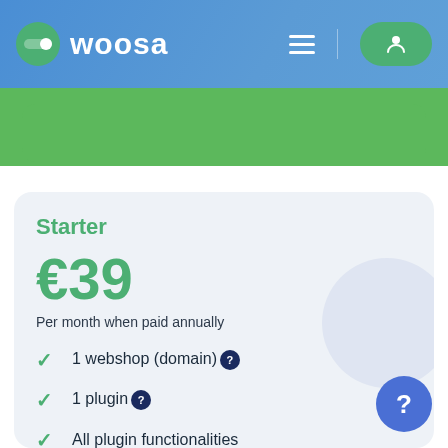WOOSA
Starter
€39
Per month when paid annually
1 webshop (domain)
1 plugin
All plugin functionalities
Unlimited domains (partially visible)